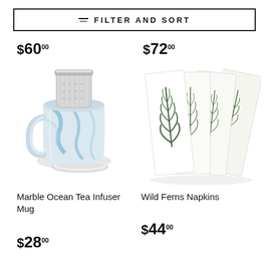≡ FILTER AND SORT
$60.00
$72.00
[Figure (photo): Marble Ocean Tea Infuser Mug — a blue and white marbled ceramic mug with stainless steel infuser insert and white ceramic lid]
[Figure (photo): Wild Ferns Napkins — four white linen napkins fanned out, each printed with a different green fern botanical illustration]
Marble Ocean Tea Infuser Mug
$28.00
Wild Ferns Napkins
$44.00